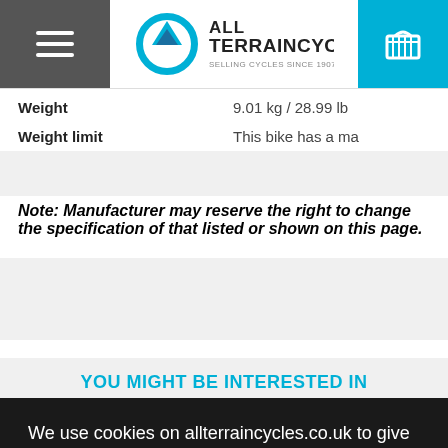All Terrain Cycles - navigation header with hamburger menu and cart icon
| Weight | 9.01 kg / 28.99 lb |
| Weight limit | This bike has a ma... |
Note: Manufacturer may reserve the right to change the specification of that listed or shown on this page.
YOU MIGHT BE INTERESTED IN
We use cookies on allterraincycles.co.uk to give you a better experience. By continuing to use our site, you are agreeing to the use of Cookies as set in our Cookie Policy
ACCEPT